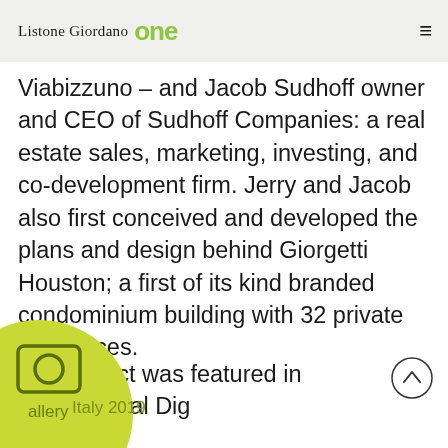Listone Giordano one
Viabizzuno – and Jacob Sudhoff owner and CEO of Sudhoff Companies: a real estate sales, marketing, investing, and co-development firm. Jerry and Jacob also first conceived and developed the plans and design behind Giorgetti Houston; a first of its kind branded condominium building with 32 private residences.
The project was featured in Architectural Dig
Italy 2019
allery